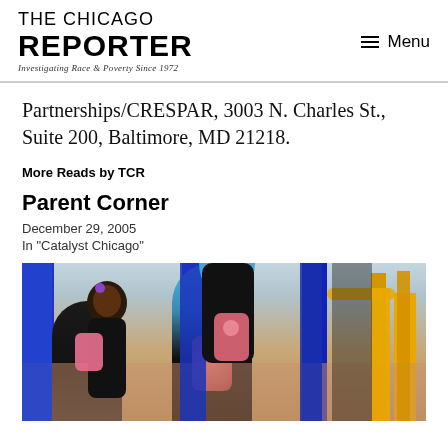THE CHICAGO REPORTER
Investigating Race & Poverty Since 1972
Partnerships/CRESPAR, 3003 N. Charles St., Suite 200, Baltimore, MD 21218.
More Reads by TCR
Parent Corner
December 29, 2005
In "Catalyst Chicago"
[Figure (photo): Children playing on a playground with blue and yellow bars/equipment, one girl with a purple flower in her hair and pink backpack looking up at another child climbing.]